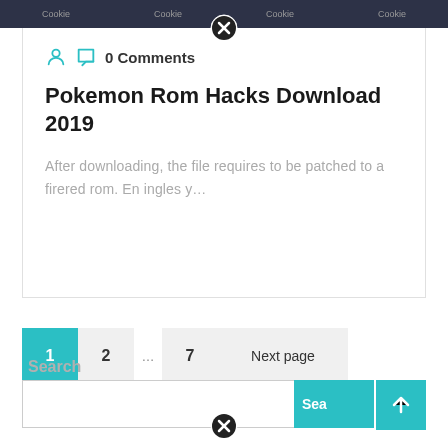[Figure (screenshot): Top navigation banner with dark background and close button overlay]
0 Comments
Pokemon Rom Hacks Download 2019
After downloading, the file requires to be patched to a firered rom. En ingles y...
1  2  ...  7  Next page
Search
[Figure (screenshot): Search input box and Search button with scroll-to-top button]